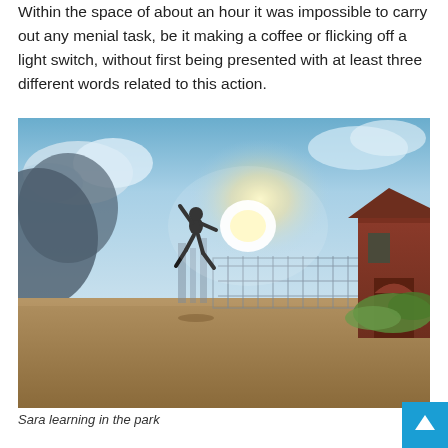Within the space of about an hour it was impossible to carry out any menial task, be it making a coffee or flicking off a light switch, without first being presented with at least three different words related to this action.
[Figure (photo): A person jumping/leaping in silhouette against a bright sky with clouds, on a sandy open area. A red-roofed building with an arched entrance is visible on the right. Green vegetation in the foreground right.]
Sara learning in the park